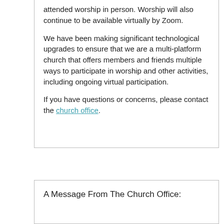attended worship in person. Worship will also continue to be available virtually by Zoom.
We have been making significant technological upgrades to ensure that we are a multi-platform church that offers members and friends multiple ways to participate in worship and other activities, including ongoing virtual participation.
If you have questions or concerns, please contact the church office.
A Message From The Church Office: